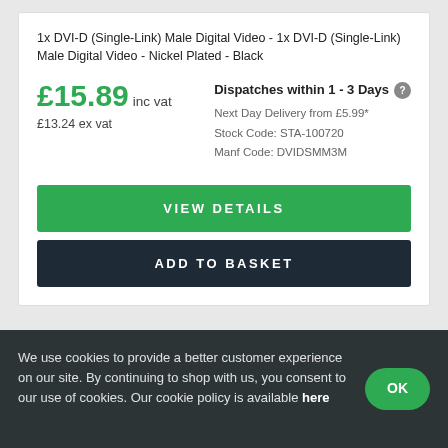1x DVI-D (Single-Link) Male Digital Video - 1x DVI-D (Single-Link) Male Digital Video - Nickel Plated - Black
£15.89 inc vat
£13.24 ex vat
Dispatches within 1 - 3 Days
Next Day Delivery from £5.99*
Stock Code: STA-100720
Manf Code: DVIDSMM3M
VIEW DETAILS
ADD TO BASKET
We use cookies to provide a better customer experience on our site. By continuing to shop with us, you consent to our use of cookies. Our cookie policy is available here